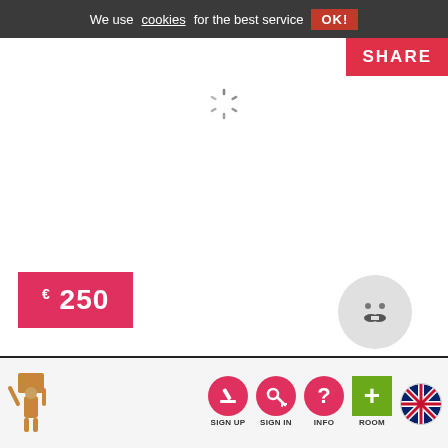We use cookies for the best service  OK!
SHARE
[Figure (other): Loading spinner animation in center of white area]
€250
[Figure (illustration): User avatar placeholder: grey circle with eyes and mustache icon]
Bentrotstraat
€ 325 | RESPOND NOW
[Figure (logo): Site logo: brown figure carrying box, bottom left footer]
SIGN UP  SIGN IN  INFO  ROOM